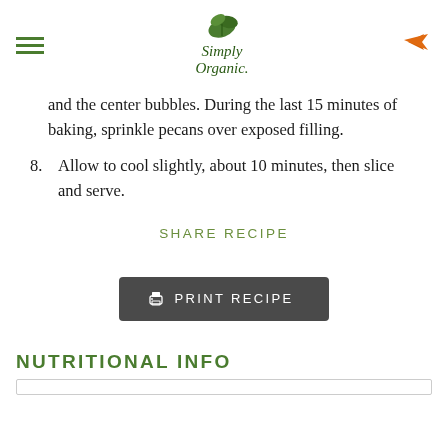Simply Organic. [logo with hamburger menu and share icon]
and the center bubbles. During the last 15 minutes of baking, sprinkle pecans over exposed filling.
8. Allow to cool slightly, about 10 minutes, then slice and serve.
SHARE RECIPE
PRINT RECIPE
NUTRITIONAL INFO